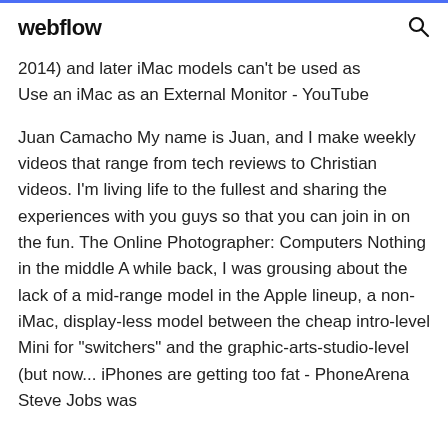webflow
2014) and later iMac models can't be used as
Use an iMac as an External Monitor - YouTube
Juan Camacho My name is Juan, and I make weekly videos that range from tech reviews to Christian videos. I'm living life to the fullest and sharing the experiences with you guys so that you can join in on the fun. The Online Photographer: Computers Nothing in the middle A while back, I was grousing about the lack of a mid-range model in the Apple lineup, a non-iMac, display-less model between the cheap intro-level Mini for "switchers" and the graphic-arts-studio-level (but now... iPhones are getting too fat - PhoneArena Steve Jobs was